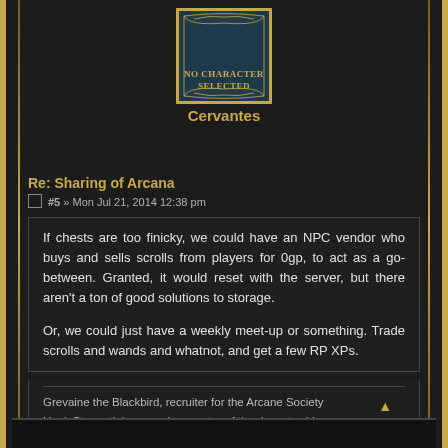[Figure (illustration): Avatar placeholder box with decorative gold border showing 'No Character Selected' text in gold on dark teal background]
Cervantes
Re: Sharing of Arcana
#5 » Mon Jul 21, 2014 12:38 pm
If chests are too finicky, we could have an NPC vendor who buys and sells scrolls from players for 0gp, to act as a go-between. Granted, it would reset with the server, but there aren't a ton of good solutions to storage.

Or, we could just have a weekly meet-up or something. Trade scrolls and wands and whatnot, and get a few RP XPs.
Grevaine the Blackbird, recruiter for the Arcane Society
Hank Stone, tinkerer and supporter of the down-trodden
Rembrask Alhavisk, not-so-pleasant mercenary
Baelnorn, DM